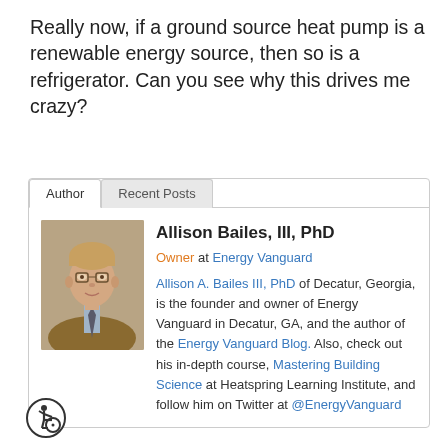Really now, if a ground source heat pump is a renewable energy source, then so is a refrigerator. Can you see why this drives me crazy?
Allison Bailes, III, PhD — Owner at Energy Vanguard. Allison A. Bailes III, PhD of Decatur, Georgia, is the founder and owner of Energy Vanguard in Decatur, GA, and the author of the Energy Vanguard Blog. Also, check out his in-depth course, Mastering Building Science at Heatspring Learning Institute, and follow him on Twitter at @EnergyVanguard
[Figure (photo): Headshot of Allison Bailes III, a man in a suit with glasses]
[Figure (illustration): Wheelchair accessibility icon inside a circle]